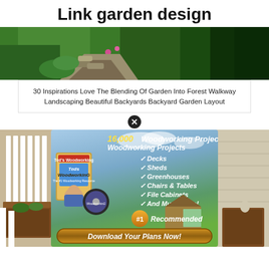Link garden design
[Figure (photo): Garden pathway with greenery and flowers]
30 Inspirations Love The Blending Of Garden Into Forest Walkway Landscaping Beautiful Backyards Backyard Garden Layout
[Figure (photo): Lower section garden with raised beds and fence]
[Figure (infographic): Advertisement for 16,000 Woodworking Projects by Ted's Woodworking. Lists: Decks, Sheds, Greenhouses, Chairs & Tables, File Cabinets, And Much More! #1 Recommended. Download Your Plans Now!]